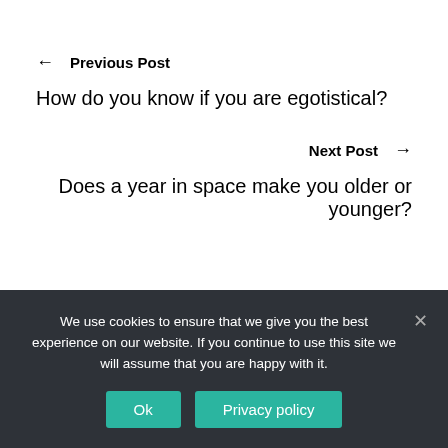← Previous Post
How do you know if you are egotistical?
Next Post →
Does a year in space make you older or younger?
We use cookies to ensure that we give you the best experience on our website. If you continue to use this site we will assume that you are happy with it.